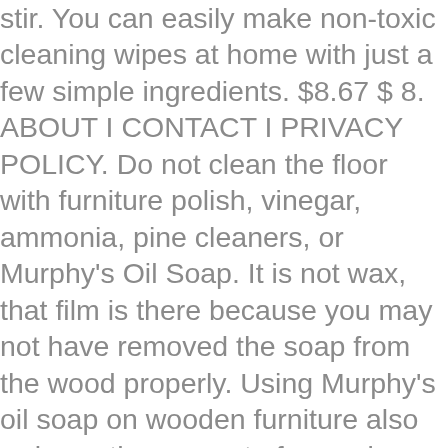stir. You can easily make non-toxic cleaning wipes at home with just a few simple ingredients. $8.67 $ 8. ABOUT I CONTACT I PRIVACY POLICY. Do not clean the floor with furniture polish, vinegar, ammonia, pine cleaners, or Murphy's Oil Soap. It is not wax, that film is there because you may not have removed the soap from the wood properly. Using Murphy's oil soap on wooden furniture also reduces the amount of sneezing that may come with dusting alone. Save 5% more with Subscribe & Save. Reply. To make a long story short the Murphy Soap (strait, no water) removed every bit of the polish. It's a great agent for cleaning laminate wood floors. Once you're satisfied with the wood spot stain removal method and you've achieved a spot-free look, freshen up the area with a solution of water and Murphy® Oil Soap. Also known as paint thinner, mineral spirits has been used a disinfectant for untreated wood for a very long time. Without lubricant, you also have to hear that annoying squeaking of the wheel and that just means the therapeutic value is gone. At full strength apply